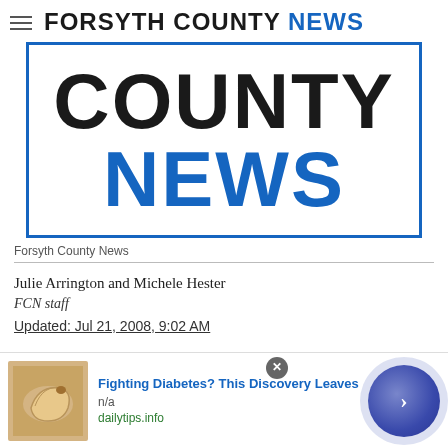FORSYTH COUNTY NEWS
[Figure (logo): Forsyth County News logo with large black COUNTY and blue NEWS text inside a blue border box]
Forsyth County News
Julie Arrington and Michele Hester
FCN staff
Updated: Jul 21, 2008, 9:02 AM
[Figure (infographic): Advertisement banner: Fighting Diabetes? This Discovery Leaves. Shows cashew nuts image on left, text in center, blue circle navigation arrow on right. Source: dailytips.info]